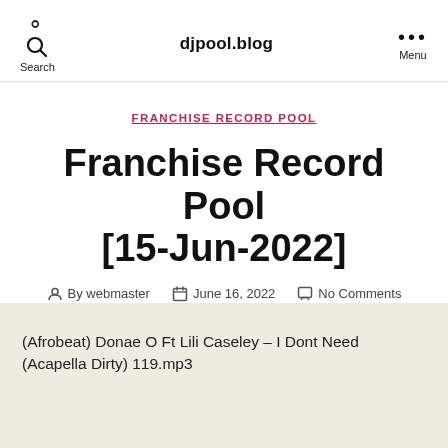Search  djpool.blog  Menu
FRANCHISE RECORD POOL
Franchise Record Pool [15-Jun-2022]
By webmaster  June 16, 2022  No Comments
(Afrobeat) Donae O Ft Lili Caseley – I Dont Need (Acapella Dirty) 119.mp3